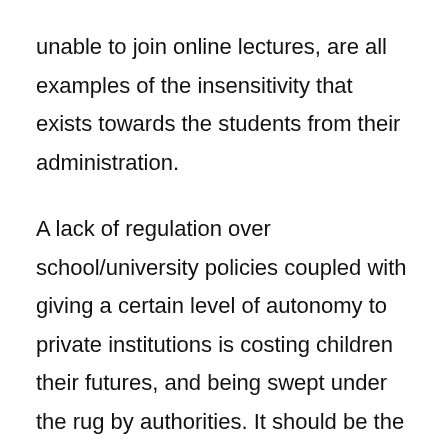unable to join online lectures, are all examples of the insensitivity that exists towards the students from their administration.
A lack of regulation over school/university policies coupled with giving a certain level of autonomy to private institutions is costing children their futures, and being swept under the rug by authorities. It should be the responsibility of institutions to provide relief to students in a way that genuinely aids them. They can learn from the examples present around the world: relief in the form of tuition cuts, 1% incremental rates, increased financial aid, and scholarship